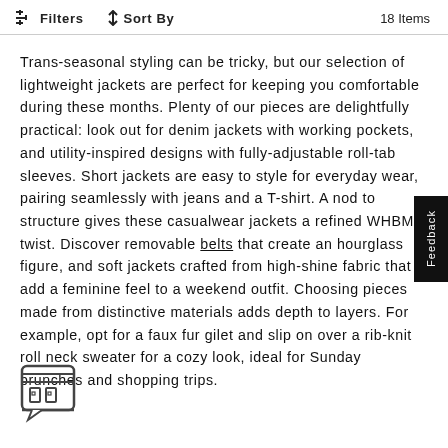Filters   ↑↓ Sort By   18 Items
Trans-seasonal styling can be tricky, but our selection of lightweight jackets are perfect for keeping you comfortable during these months. Plenty of our pieces are delightfully practical: look out for denim jackets with working pockets, and utility-inspired designs with fully-adjustable roll-tab sleeves. Short jackets are easy to style for everyday wear, pairing seamlessly with jeans and a T-shirt. A nod to structure gives these casualwear jackets a refined WHBM twist. Discover removable belts that create an hourglass figure, and soft jackets crafted from high-shine fabric that add a feminine feel to a weekend outfit. Choosing pieces made from distinctive materials adds depth to layers. For example, opt for a faux fur gilet and slip on over a rib-knit roll neck sweater for a cozy look, ideal for Sunday brunches and shopping trips.
[Figure (illustration): Small shop/storefront chat bubble icon in bottom left corner]